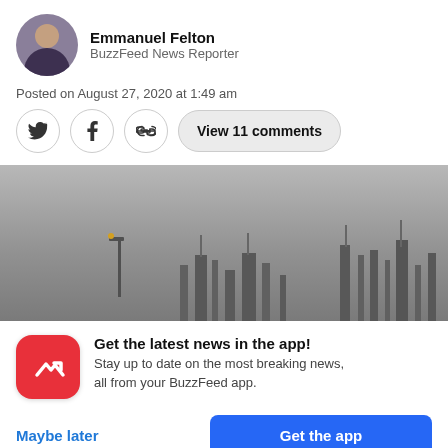Emmanuel Felton
BuzzFeed News Reporter
Posted on August 27, 2020 at 1:49 am
View 11 comments
[Figure (photo): Overcast industrial scene with grey sky, industrial structures and a street lamp silhouette visible at bottom]
Get the latest news in the app! Stay up to date on the most breaking news, all from your BuzzFeed app.
Maybe later
Get the app